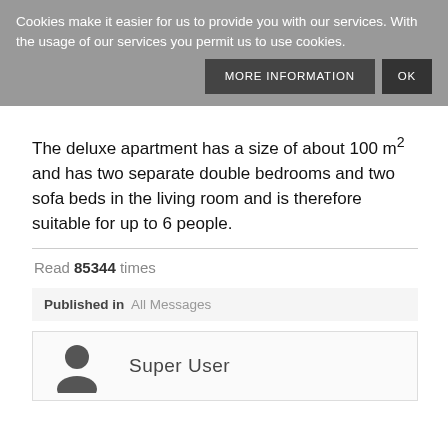Cookies make it easier for us to provide you with our services. With the usage of our services you permit us to use cookies.
MORE INFORMATION | OK
The deluxe apartment has a size of about 100 m² and has two separate double bedrooms and two sofa beds in the living room and is therefore suitable for up to 6 people.
Read 85344 times
Published in  All Messages
Super User